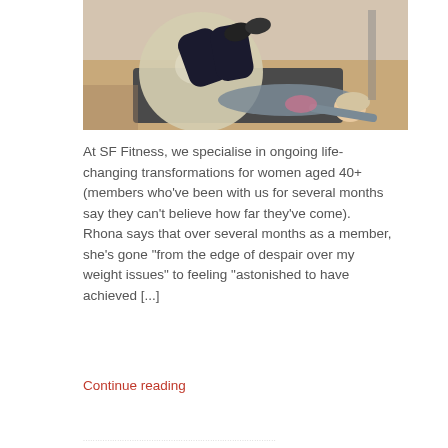[Figure (photo): A woman lying on her back on a gym mat with her legs raised and resting on a large silver exercise/stability ball. The photo is taken in a fitness studio with wooden flooring.]
At SF Fitness, we specialise in ongoing life-changing transformations for women aged 40+ (members who've been with us for several months say they can't believe how far they've come). Rhona says that over several months as a member, she's gone “from the edge of despair over my weight issues” to feeling “astonished to have achieved [...]
Continue reading
...................................................................